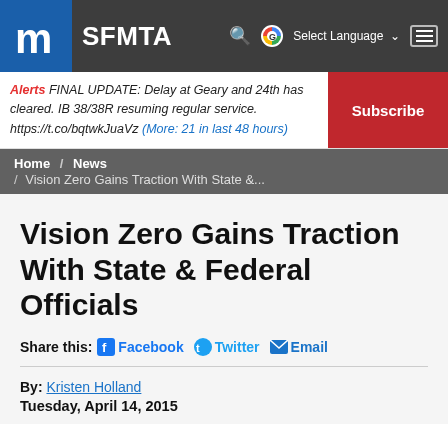SFMTA
Alerts FINAL UPDATE: Delay at Geary and 24th has cleared. IB 38/38R resuming regular service. https://t.co/bqtwkJuaVz (More: 21 in last 48 hours)
Subscribe
Home / News / Vision Zero Gains Traction With State &...
Vision Zero Gains Traction With State & Federal Officials
Share this: Facebook Twitter Email
By: Kristen Holland
Tuesday, April 14, 2015